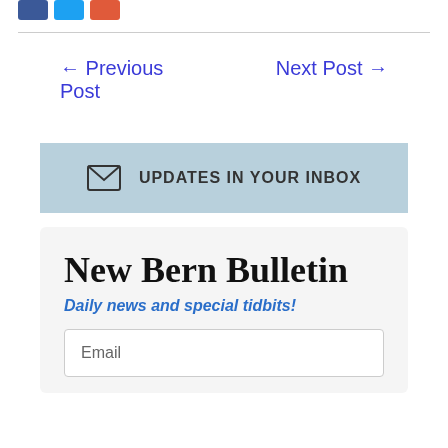[Figure (other): Three social media icon boxes: blue (Facebook), light blue (Twitter), red/orange (email/share)]
← Previous Post
Next Post →
UPDATES IN YOUR INBOX
New Bern Bulletin
Daily news and special tidbits!
Email